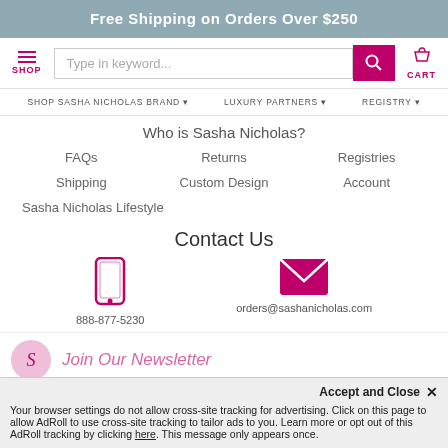Free Shipping on Orders Over $250
[Figure (screenshot): Navigation bar with SHOP hamburger menu, keyword search input, search button, and CART icon]
SHOP SASHA NICHOLAS BRAND ▾   LUXURY PARTNERS ▾   REGISTRY ▾
Who is Sasha Nicholas?
FAQs
Returns
Registries
Shipping
Custom Design
Account
Sasha Nicholas Lifestyle
Contact Us
888-877-5230
orders@sashanicholas.com
Join Our Newsletter
Accept and Close ✕
Your browser settings do not allow cross-site tracking for advertising. Click on this page to allow AdRoll to use cross-site tracking to tailor ads to you. Learn more or opt out of this AdRoll tracking by clicking here. This message only appears once.